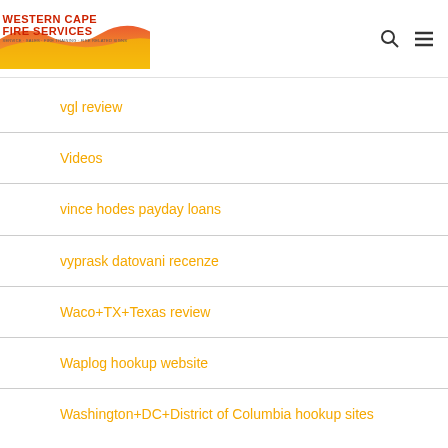WESTERN CAPE FIRE SERVICES · SERVICE · SALES · FIRE TRAINING · FIRE RELATED SIGNS
vgl review
Videos
vince hodes payday loans
vyprask datovani recenze
Waco+TX+Texas review
Waplog hookup website
Washington+DC+District of Columbia hookup sites